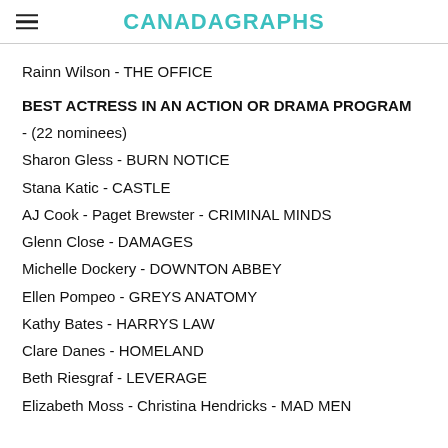CANADAGRAPHS
Rainn Wilson - THE OFFICE
BEST ACTRESS IN AN ACTION OR DRAMA PROGRAM
- (22 nominees)
Sharon Gless - BURN NOTICE
Stana Katic - CASTLE
AJ Cook - Paget Brewster - CRIMINAL MINDS
Glenn Close - DAMAGES
Michelle Dockery - DOWNTON ABBEY
Ellen Pompeo - GREYS ANATOMY
Kathy Bates - HARRYS LAW
Clare Danes - HOMELAND
Beth Riesgraf - LEVERAGE
Elizabeth Moss - Christina Hendricks - MAD MEN